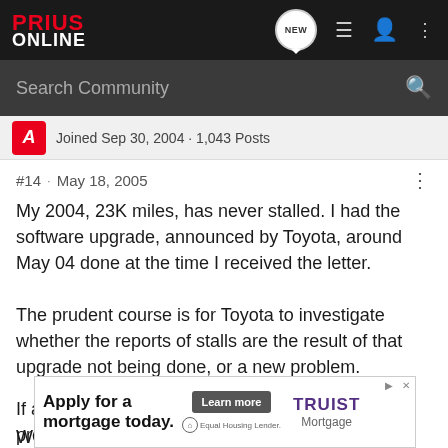[Figure (screenshot): PriusOnline forum website header with logo, navigation icons (NEW chat bubble, list, user, more), and search bar reading 'Search Community']
Joined Sep 30, 2004 · 1,043 Posts
#14 · May 18, 2005
My 2004, 23K miles, has never stalled. I had the software upgrade, announced by Toyota, around May 04 done at the time I received the letter.
The prudent course is for Toyota to investigate whether the reports of stalls are the result of that upgrade not being done, or a new problem.
If a new problem, diagnose it and prepare a solution.
We will ... of the investig...
[Figure (screenshot): Advertisement banner: 'Apply for a mortgage today. Learn more. TRUIST Mortgage. Equal Housing Lender.']